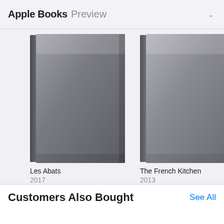Apple Books Preview
[Figure (illustration): Book cover for 'Les Abats' with grey gradient illustration, published 2017]
Les Abats
2017
[Figure (illustration): Book cover for 'The French Kitchen' with grey gradient illustration, published 2013]
The French Kitchen
2013
[Figure (illustration): Partially visible book cover, published 201x]
Customers Also Bought
[Figure (photo): Partially visible book thumbnail in 'Customers Also Bought' row]
[Figure (illustration): Partially visible book thumbnail in 'Customers Also Bought' row]